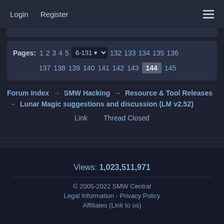Login   Register
Pages: 1 2 3 4 5  6-131  132 133 134 135 136 137 138 139 140 141 142 143 144 145
Forum Index → SMW Hacking → Resource & Tool Releases → Lunar Magic suggestions and discussion (LM v2.52)
Link   Thread Closed
Views: 1,023,511,971
© 2005-2022 SMW Central
Legal Information - Privacy Policy
Affiliates (Link to us)